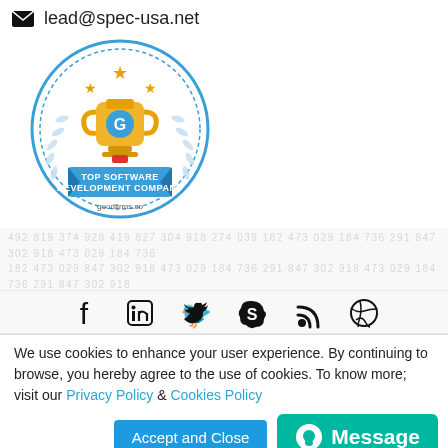lead@spec-usa.net
[Figure (logo): GoodFirms Top Software Development Company badge — circular blue and white badge with gold trophy, stars, laurel wreath, blue ribbon banner reading TOP SOFTWARE DEVELOPMENT COMPANY, goodfirms.co text]
[Figure (infographic): Watermark background text pattern (light grey repeated text/numbers)]
[Figure (infographic): Social media icons row: Facebook, LinkedIn, Twitter, Skype, RSS, Dribbble]
We use cookies to enhance your user experience. By continuing to browse, you hereby agree to the use of cookies. To know more; visit our Privacy Policy & Cookies Policy
Accept and Close
Message